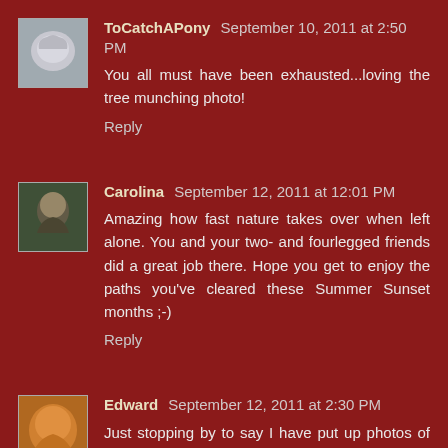ToCatchAPony September 10, 2011 at 2:50 PM
You all must have been exhausted...loving the tree munching photo!
Reply
Carolina September 12, 2011 at 12:01 PM
Amazing how fast nature takes over when left alone. You and your two- and fourlegged friends did a great job there. Hope you get to enjoy the paths you've cleared these Summer Sunset months ;-)
Reply
Edward September 12, 2011 at 2:30 PM
Just stopping by to say I have put up photos of my saddle with and without the pad on my blog now, you can find them in the post called (The Instructor Meets Niko) I've also